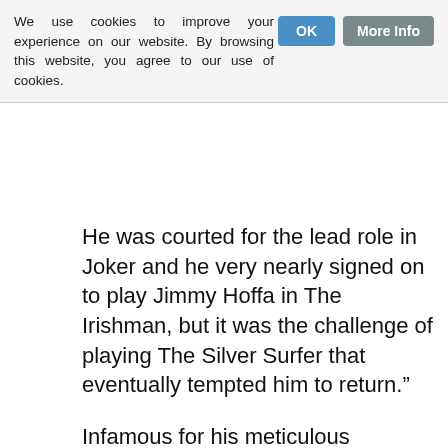We use cookies to improve your experience on our website. By browsing this website, you agree to our use of cookies.
He was courted for the lead role in Joker and he very nearly signed on to play Jimmy Hoffa in The Irishman, but it was the challenge of playing The Silver Surfer that eventually tempted him to return.”
Infamous for his meticulous preparation for a role, Day-Lewis’ agent confirmed the celebrated actor is going all out for his comeback:
For the last six months he’s been working as a herald of Galactus, travelling the universe looking for new worlds for his master to devour. It’s not